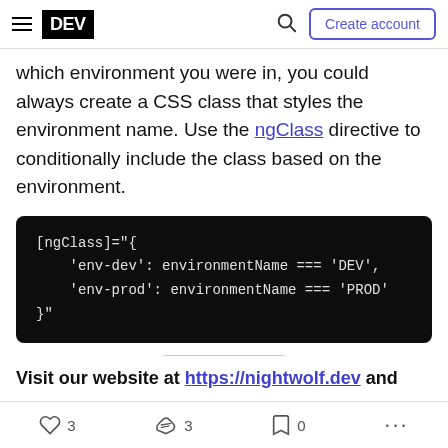DEV | Create account
which environment you were in, you could always create a CSS class that styles the environment name. Use the ngClass directive to conditionally include the class based on the environment.
[Figure (screenshot): Code block on dark background showing: [ngClass]="{'env-dev': environmentName === 'DEV', 'env-prod': environmentName === 'PROD'}"]
Visit our website at https://nightwolf.dev and
3 likes, 3 reactions, 0 saves, more options